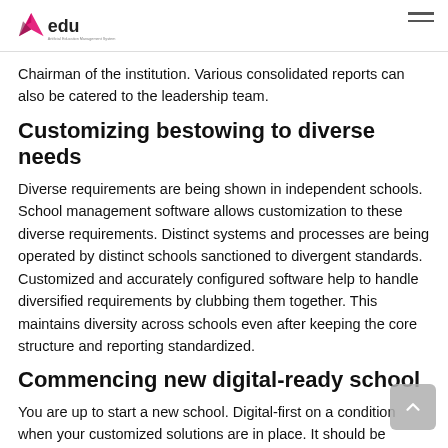edu — Artificial Education Management System
Chairman of the institution. Various consolidated reports can also be catered to the leadership team.
Customizing bestowing to diverse needs
Diverse requirements are being shown in independent schools. School management software allows customization to these diverse requirements. Distinct systems and processes are being operated by distinct schools sanctioned to divergent standards. Customized and accurately configured software help to handle diversified requirements by clubbing them together. This maintains diversity across schools even after keeping the core structure and reporting standardized.
Commencing new digital-ready school
You are up to start a new school. Digital-first on a condition when your customized solutions are in place. It should be started with the creation of an instance of the software for the